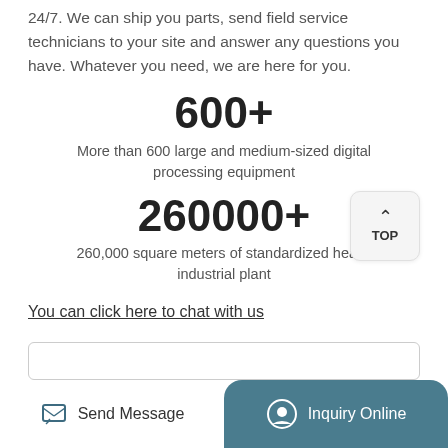24/7. We can ship you parts, send field service technicians to your site and answer any questions you have. Whatever you need, we are here for you.
600+
More than 600 large and medium-sized digital processing equipment
260000+
260,000 square meters of standardized heavy industrial plant
You can click here to chat with us
Send Message
Inquiry Online